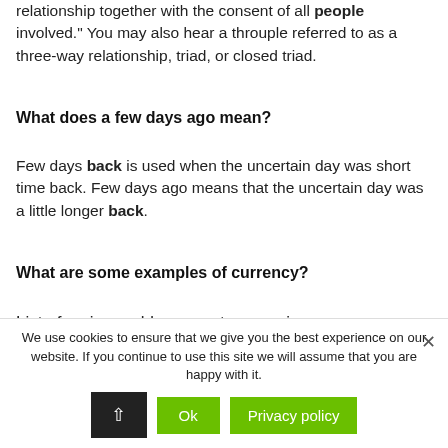relationship together with the consent of all people involved." You may also hear a throuple referred to as a three-way relationship, triad, or closed triad.
What does a few days ago mean?
Few days back is used when the uncertain day was short time back. Few days ago means that the uncertain day was a little longer back.
What are some examples of currency?
List of major world payment currencies
We use cookies to ensure that we give you the best experience on our website. If you continue to use this site we will assume that you are happy with it.